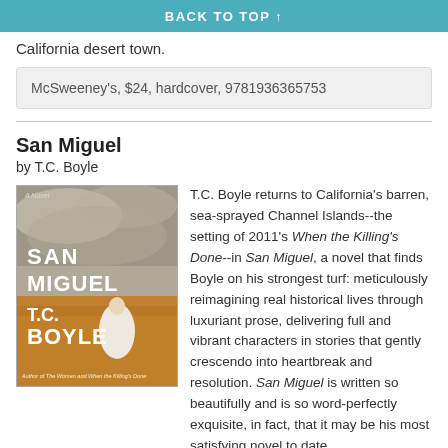BACK TO TOP ↑
California desert town.
McSweeney's, $24, hardcover, 9781936365753
San Miguel
by T.C. Boyle
[Figure (photo): Book cover of San Miguel by T.C. Boyle showing a woman in white dress standing in a golden field under an overcast sky]
T.C. Boyle returns to California's barren, sea-sprayed Channel Islands--the setting of 2011's When the Killing's Done--in San Miguel, a novel that finds Boyle on his strongest turf: meticulously reimagining real historical lives through luxuriant prose, delivering full and vibrant characters in stories that gently crescendo into heartbreak and resolution. San Miguel is written so beautifully and is so word-perfectly exquisite, in fact, that it may be his most satisfying novel to date.